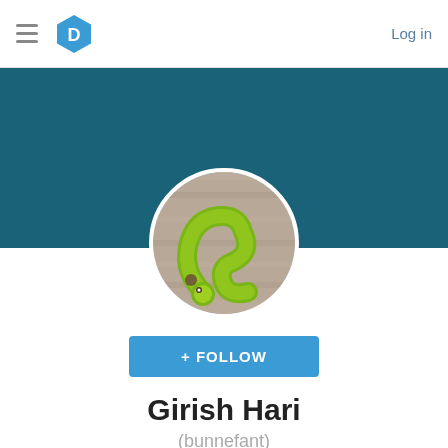D  Log in
[Figure (photo): Dark teal/blue banner background]
[Figure (photo): Circular profile photo of a green caterpillar on a wooden surface]
+ FOLLOW
Girish Hari
(bunnefant)